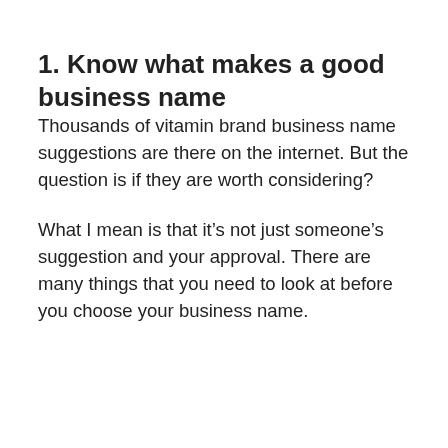1. Know what makes a good business name
Thousands of vitamin brand business name suggestions are there on the internet. But the question is if they are worth considering?
What I mean is that it’s not just someone’s suggestion and your approval. There are many things that you need to look at before you choose your business name.